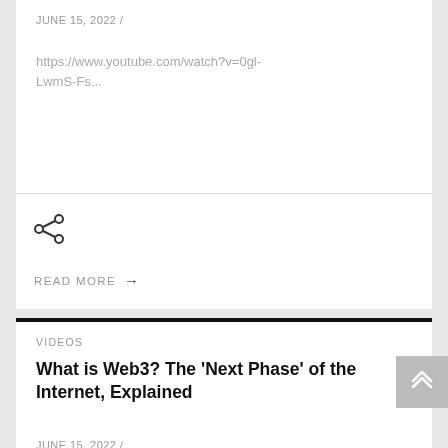JUNE 15, 2022 /
https://www.youtube.com/watch?v=0gl-LwmS-Fs...
[Figure (other): Share icon (less-than style share symbol)]
READ MORE →
VIDEOS
What is Web3? The 'Next Phase' of the Internet, Explained
JUNE 15, 2022 /
https://www.youtube.com/watch?v=UxgwigDbCG8...
[Figure (other): Share icon (less-than style share symbol)]
READ MORE →